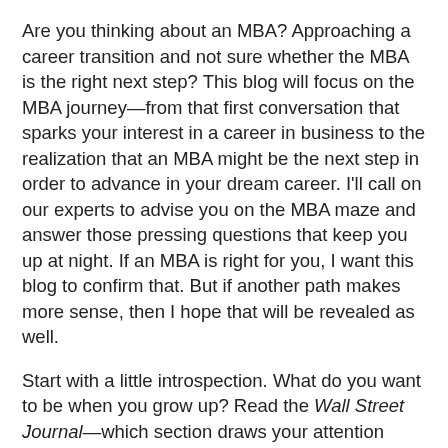Are you thinking about an MBA? Approaching a career transition and not sure whether the MBA is the right next step? This blog will focus on the MBA journey—from that first conversation that sparks your interest in a career in business to the realization that an MBA might be the next step in order to advance in your dream career. I'll call on our experts to advise you on the MBA maze and answer those pressing questions that keep you up at night. If an MBA is right for you, I want this blog to confirm that. But if another path makes more sense, then I hope that will be revealed as well.
Start with a little introspection. What do you want to be when you grow up? Read the Wall Street Journal—which section draws your attention when you only have time for one? Pick up Fast Company and see what people are doing in business that's new or different. Talk to friends, colleagues, and family—some who have an MBA and some who don't. Ask them about their experience. What do they think about getting an MBA?
Be honest with yourself about the job you want and the work environment where you'll be happy. Maybe achieving a